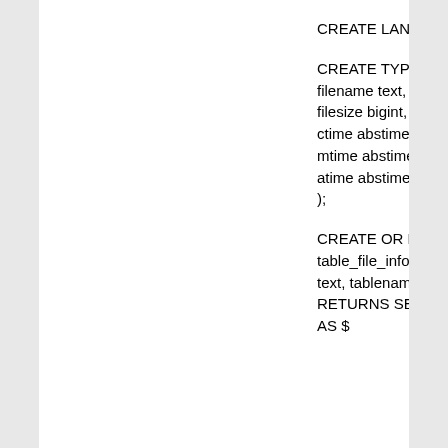CREATE LANGUAGE plpythonu;

CREATE TYPE fileinfo AS (
filename text,
filesize bigint,
ctime abstime,
mtime abstime,
atime abstime
);

CREATE OR REPLACE FUNCTION
table_file_info(schema
text, tablename text)
RETURNS SETOF fileinfo
AS $